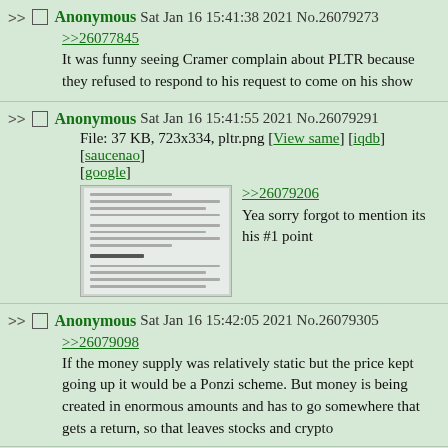>> Anonymous Sat Jan 16 15:41:38 2021 No.26079273
>>26077845
It was funny seeing Cramer complain about PLTR because they refused to respond to his request to come on his show
>> Anonymous Sat Jan 16 15:41:55 2021 No.26079291
File: 37 KB, 723x334, pltr.png [View same] [iqdb] [saucenao] [google]
>>26079206
Yea sorry forgot to mention its his #1 point
>> Anonymous Sat Jan 16 15:42:05 2021 No.26079305
>>26079098
If the money supply was relatively static but the price kept going up it would be a Ponzi scheme. But money is being created in enormous amounts and has to go somewhere that gets a return, so that leaves stocks and crypto